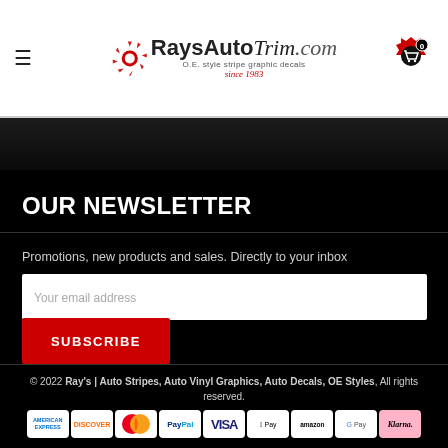[Figure (logo): RaysAutoTrim.com logo with gear icon, tagline 'O.E. style stripe graphic decals since 1983']
OUR NEWSLETTER
Promotions, new products and sales. Directly to your inbox
Your email address
SUBSCRIBE
© 2022 Ray's | Auto Stripes, Auto Vinyl Graphics, Auto Decals, OE Styles, All rights reserved.
[Figure (other): Payment method icons: American Express, Discover, Mastercard, PayPal, Visa, Apple Pay, Amazon, Google Pay, Klarna]